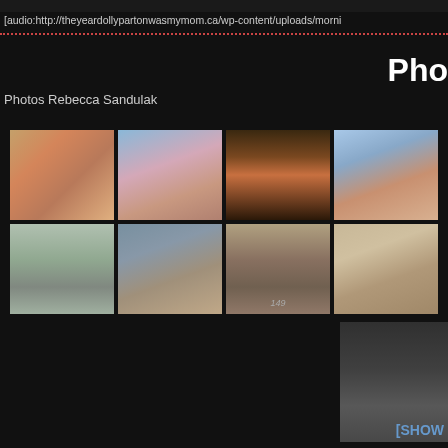[audio:http://theyeardollypartonwasmymom.ca/wp-content/uploads/morni
Photos Rebecca Sandulak
Pho
[Figure (photo): Grid of 9 photographs from the film/project 'The Year Dolly Parton Was My Mom', by Rebecca Sandulak. Top row: young girl looking down with colorful top; close-up of young girl with red lipstick; close-up of a book/cassette tape; girl standing on a rural road. Bottom row: flat prairie road with car and figures; woman with curly hair in profile; vintage ID photo numbered 149; woman carrying boxes in a retro living room. Partial third row: a dark/black and white photo partially visible at bottom right.]
[SHOW